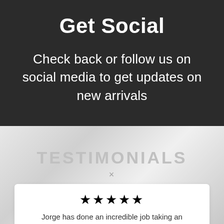Get Social
Check back or follow us on social media to get updates on new arrivals
TESTIMONIALS
★★★★★
Jorge has done an incredible job taking an